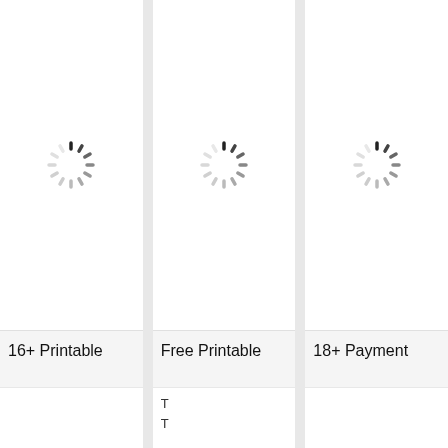[Figure (illustration): Loading spinner icon (circular dashed/segmented ring) centered in first column card]
16+ Printable
[Figure (illustration): Loading spinner icon (circular dashed/segmented ring) centered in second column card]
Free Printable
T
T
[Figure (illustration): Loading spinner icon (circular dashed/segmented ring) centered in third column card]
18+ Payment